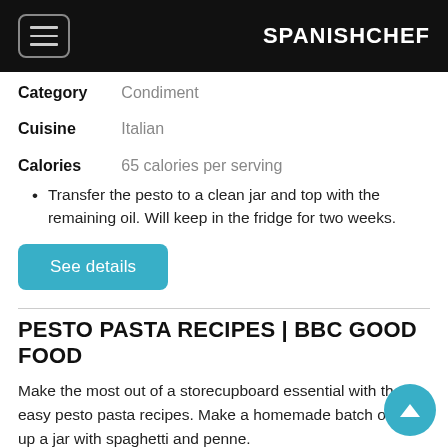SPANISHCHEF
Category    Condiment
Cuisine    Italian
Calories    65 calories per serving
Transfer the pesto to a clean jar and top with the remaining oil. Will keep in the fridge for two weeks.
See details
PESTO PASTA RECIPES | BBC GOOD FOOD
Make the most out of a storecupboard essential with these easy pesto pasta recipes. Make a homemade batch or use up a jar with spaghetti and penne.